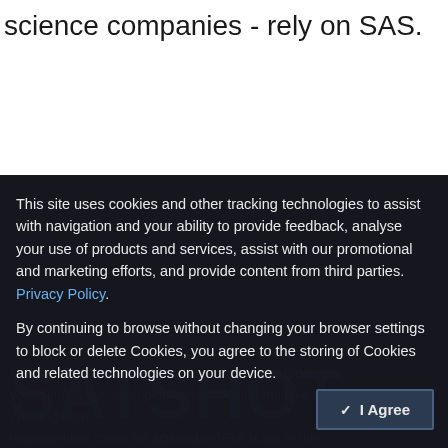science companies - rely on SAS.
This site uses cookies and other tracking technologies to assist with navigation and your ability to provide feedback, analyse your use of products and services, assist with our promotional and marketing efforts, and provide content from third parties. Privacy Policy.

By continuing to browse without changing your browser settings to block or delete Cookies, you agree to the storing of Cookies and related technologies on your device.
✓ I Agree